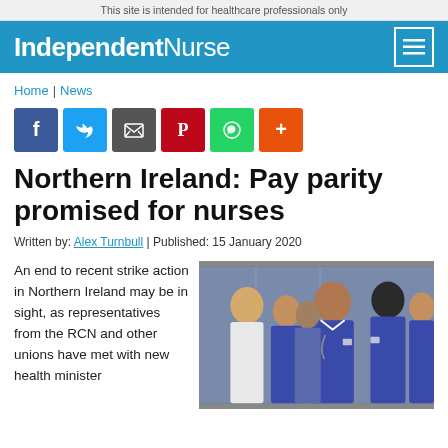This site is intended for healthcare professionals only
Independent Nurse
Home | News
[Figure (other): Social sharing icons: Facebook, Twitter, Email, Pinterest, WhatsApp, More]
Northern Ireland: Pay parity promised for nurses
Written by: Alex Turnbull | Published: 15 January 2020
An end to recent strike action in Northern Ireland may be in sight, as representatives from the RCN and other unions have met with new health minister
[Figure (photo): Group of nurses in blue scrubs standing together in what appears to be a hospital elevator or corridor]